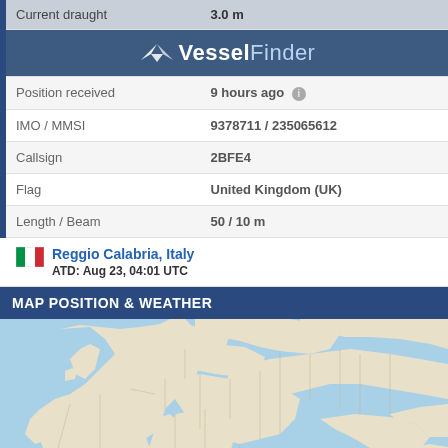| Field | Value |
| --- | --- |
| Current draught | 3.0 m |
| Navigation Status | VesselFinder (logo bar) |
| Position received | 9 hours ago |
| IMO / MMSI | 9378711 / 235065612 |
| Callsign | 2BFE4 |
| Flag | United Kingdom (UK) |
| Length / Beam | 50 / 10 m |
Reggio Calabria, Italy
ATD: Aug 23, 04:01 UTC
MAP POSITION & WEATHER
[Figure (map): Map showing Europe and surrounding regions including the Mediterranean Sea, Eastern Europe, and parts of Asia Minor. Land areas in beige/cream, water areas in light blue, country borders shown with thin lines.]